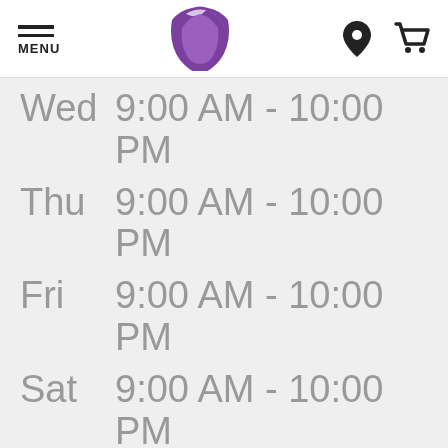[Figure (logo): Taco Bell website header with hamburger menu icon, Taco Bell logo, location pin icon, and shopping cart icon]
| Day | Hours |
| --- | --- |
| Wed | 9:00 AM - 10:00 PM |
| Thu | 9:00 AM - 10:00 PM |
| Fri | 9:00 AM - 10:00 PM |
| Sat | 9:00 AM - 10:00 PM |